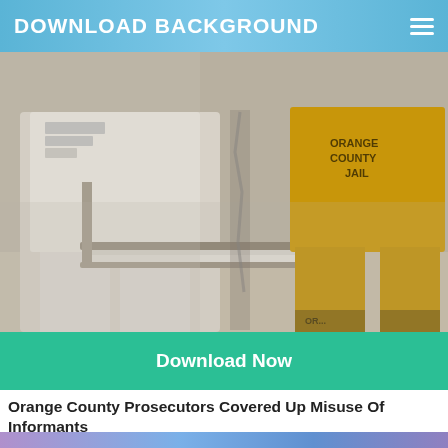DOWNLOAD BACKGROUND
[Figure (photo): Two people in Orange County Jail uniforms — one in white, one in yellow — standing near bunk beds in a jail cell]
Download Now
Orange County Prosecutors Covered Up Misuse Of Informants
[Figure (photo): Partial view of another image at the bottom of the page with purple and blue colors]